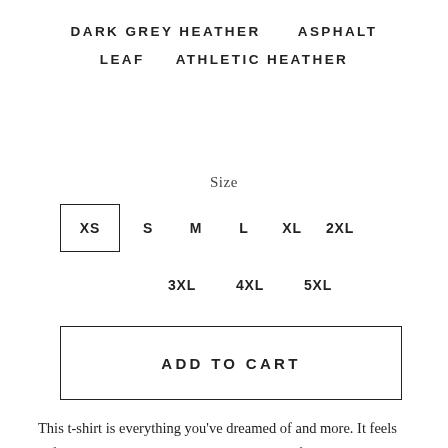DARK GREY HEATHER   ASPHALT
LEAF   ATHLETIC HEATHER
Size
XS  S  M  L  XL  2XL
3XL  4XL  5XL
ADD TO CART
This t-shirt is everything you've dreamed of and more. It feels soft and lightweight, with the right amount of stretch. It's comfortable and flattering for all. It also sports the Lone Star